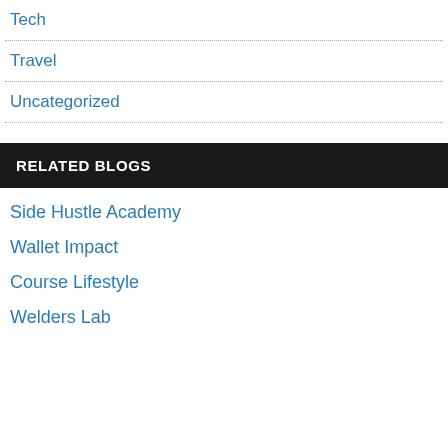Tech
Travel
Uncategorized
RELATED BLOGS
Side Hustle Academy
Wallet Impact
Course Lifestyle
Welders Lab